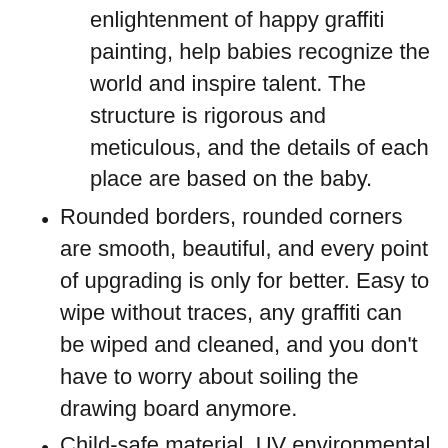enlightenment of happy graffiti painting, help babies recognize the world and inspire talent. The structure is rigorous and meticulous, and the details of each place are based on the baby.
Rounded borders, rounded corners are smooth, beautiful, and every point of upgrading is only for better. Easy to wipe without traces, any graffiti can be wiped and cleaned, and you don't have to worry about soiling the drawing board anymore.
Child-safe material, UV environmental protection transparent paint, high environmental protection hardness and easy to clean, clear texture at a glance.